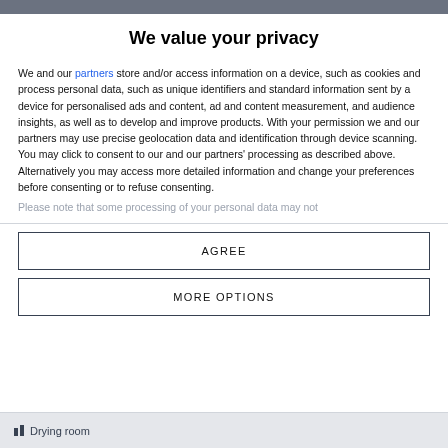We value your privacy
We and our partners store and/or access information on a device, such as cookies and process personal data, such as unique identifiers and standard information sent by a device for personalised ads and content, ad and content measurement, and audience insights, as well as to develop and improve products. With your permission we and our partners may use precise geolocation data and identification through device scanning. You may click to consent to our and our partners' processing as described above. Alternatively you may access more detailed information and change your preferences before consenting or to refuse consenting.
Please note that some processing of your personal data may not
AGREE
MORE OPTIONS
Drying room